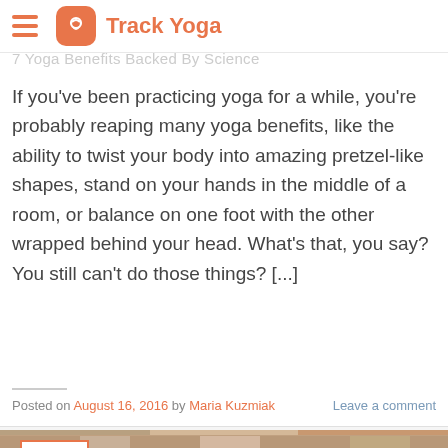Track Yoga
7 Yoga Benefits Backed By Science
If you've been practicing yoga for a while, you're probably reaping many yoga benefits, like the ability to twist your body into amazing pretzel-like shapes, stand on your hands in the middle of a room, or balance on one foot with the other wrapped behind your head. What's that, you say? You still can't do those things? [...]
Posted on August 16, 2016 by Maria Kuzmiak    Leave a comment
[Figure (photo): Three people in a yoga class with hands in prayer position, date badge showing 09 AUG]